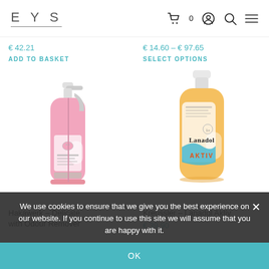EYS
€ 42.21
ADD TO BASKET
€ 14.60 – € 97.65
SELECT OPTIONS
[Figure (photo): Pink spray bottle of Hakawerk Delicate laundry detergent with odour remover]
[Figure (photo): Yellow/orange bottle of Kreussler Lanadol Aktiv laundry detergent]
Hakawerk – Delicate with Odour Remover
Kreussler – Lanadol Aktiv
€ 39.90
We use cookies to ensure that we give you the best experience on our website. If you continue to use this site we will assume that you are happy with it.
OK